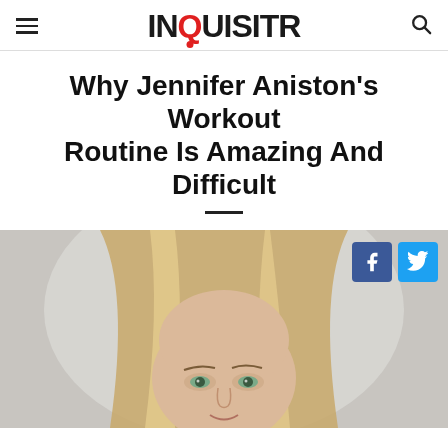INQUISITR
Why Jennifer Aniston's Workout Routine Is Amazing And Difficult
[Figure (photo): Photo of Jennifer Aniston, a woman with long blonde highlighted hair, looking forward, against a light gray background. Facebook and Twitter share buttons overlay the top right of the image.]